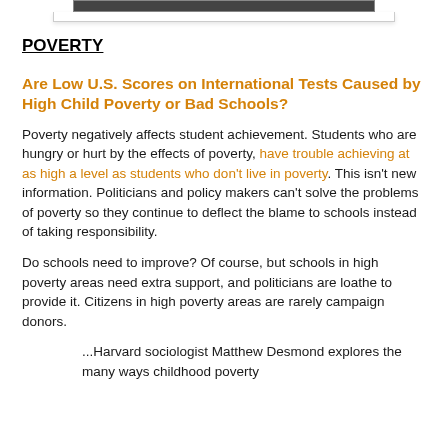[Figure (other): Partial image visible at top of page, showing a dark horizontal bar]
POVERTY
Are Low U.S. Scores on International Tests Caused by High Child Poverty or Bad Schools?
Poverty negatively affects student achievement. Students who are hungry or hurt by the effects of poverty, have trouble achieving at as high a level as students who don't live in poverty. This isn't new information. Politicians and policy makers can't solve the problems of poverty so they continue to deflect the blame to schools instead of taking responsibility.
Do schools need to improve? Of course, but schools in high poverty areas need extra support, and politicians are loathe to provide it. Citizens in high poverty areas are rarely campaign donors.
...Harvard sociologist Matthew Desmond explores the many ways childhood poverty